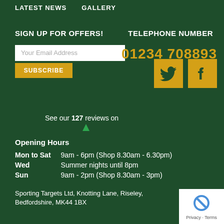LATEST NEWS    GALLERY
SIGN UP FOR OFFERS!
TELEPHONE NUMBER
Your Email Address
01234 708893
SUBSCRIBE
[Figure (logo): Twitter bird icon on yellow/gold square background]
[Figure (logo): Facebook 'f' icon on yellow/gold square background]
See our 127 reviews on
Opening Hours
Mon to Sat   9am - 6pm (Shop 8.30am - 6.30pm)
Wed           Summer nights until 8pm
Sun           9am - 2pm (Shop 8.30am - 3pm)
Sporting Targets Ltd, Knotting Lane, Riseley, Bedfordshire, MK44 1BX